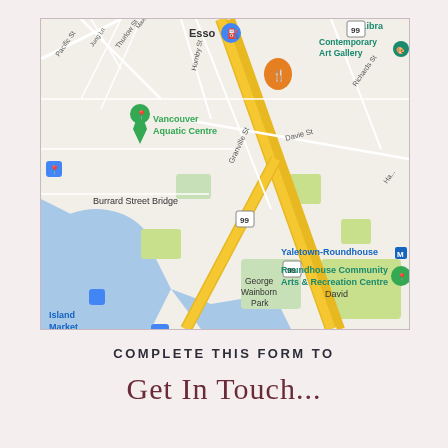[Figure (map): Google Maps screenshot showing Vancouver area including Vancouver Aquatic Centre, Burrard Street Bridge, Granville St, Davie St, Hornby St, Yaletown-Roundhouse station, Roundhouse Community Arts & Recreation Centre, George Wainborn Park, Island Market, Contemporary Art Gallery, Esso station, and David area. Blue water bodies visible on left side.]
COMPLETE THIS FORM TO
Get In Touch...